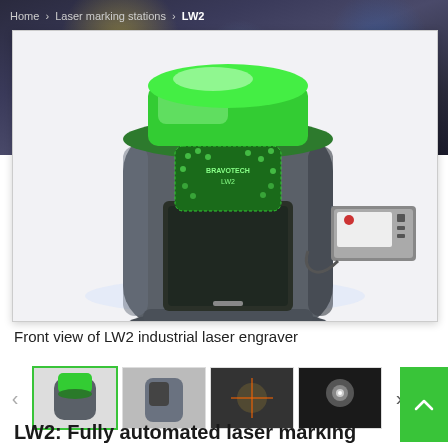Home > Laser marking stations > LW2
[Figure (photo): Front view of LW2 industrial laser engraver by Bravotech. A cylindrical grey machine with a bright green glowing top cover, featuring the Bravotech LW2 logo on a green hexagonal pattern shield. A small control touchscreen panel is attached to the right side via a bracket.]
Front view of LW2 industrial laser engraver
[Figure (photo): Thumbnail 1: Small front view of LW2 with green top glowing]
[Figure (photo): Thumbnail 2: Side/back view of LW2 machine in grey]
[Figure (photo): Thumbnail 3: Dark close-up industrial laser marking in action]
[Figure (photo): Thumbnail 4: Dark image showing a laser beam or marking result]
LW2: Fully automated laser marking